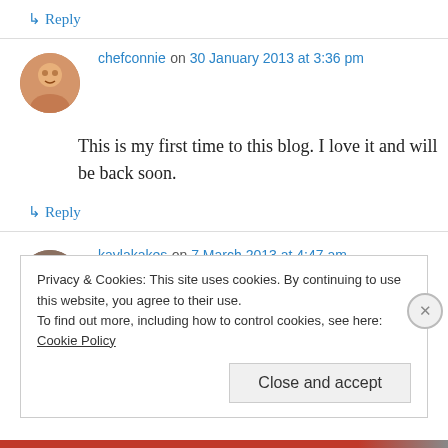↳ Reply
chefconnie on 30 January 2013 at 3:36 pm
This is my first time to this blog. I love it and will be back soon.
↳ Reply
kaylakakes on 7 March 2013 at 4:47 am
Privacy & Cookies: This site uses cookies. By continuing to use this website, you agree to their use.
To find out more, including how to control cookies, see here: Cookie Policy
Close and accept